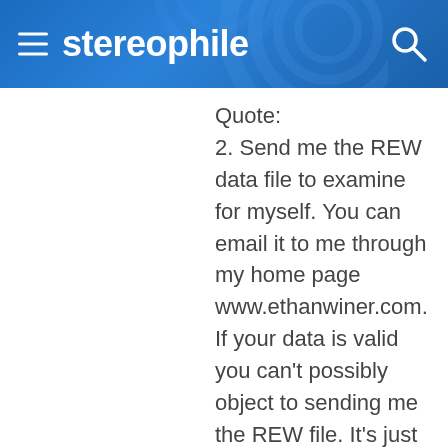stereophile
Quote:
2. Send me the REW data file to examine for myself. You can email it to me through my home page www.ethanwiner.com. If your data is valid you can't possibly object to sending me the REW file. It's just measuring data, containing nothing